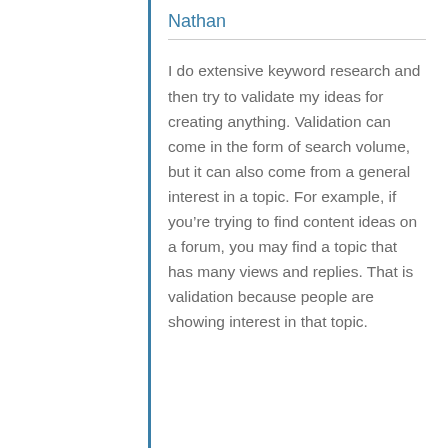Nathan
I do extensive keyword research and then try to validate my ideas for creating anything. Validation can come in the form of search volume, but it can also come from a general interest in a topic. For example, if you’re trying to find content ideas on a forum, you may find a topic that has many views and replies. That is validation because people are showing interest in that topic.